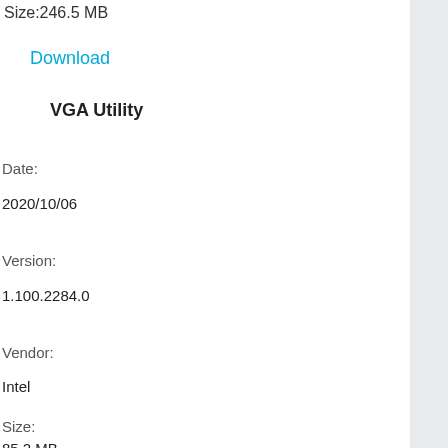Size:246.5 MB
Download
VGA Utility
Date:
2020/10/06
Version:
1.100.2284.0
Vendor:
Intel
Size:
85.2 MB